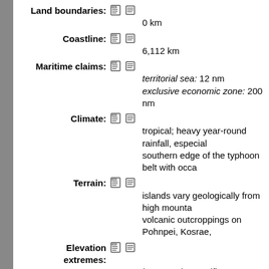Land boundaries: 0 km
Coastline: 6,112 km
Maritime claims: territorial sea: 12 nm; exclusive economic zone: 200 nm
Climate: tropical; heavy year-round rainfall, especially on the southern edge of the typhoon belt with occa
Terrain: islands vary geologically from high mounta volcanic outcroppings on Pohnpei, Kosrae,
Elevation extremes: lowest point: Pacific Ocean 0 m; highest point: Dolohmwar (Totolom) 791 m
Natural resources: forests, marine products, deep-seabed mine
Land use: arable land: 5.71%